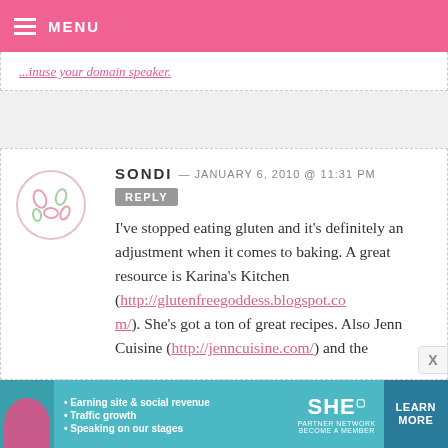MENU
...inuse your domain speaker.
SONDI — JANUARY 6, 2010 @ 11:31 PM REPLY
I've stopped eating gluten and it's definitely an adjustment when it comes to baking. A great resource is Karina's Kitchen (http://glutenfreegoddess.blogspot.com/). She's got a ton of great recipes. Also Jenn Cuisine (http://jenncuisine.com/) and the
[Figure (other): Advertisement banner for SHE Partner Network with bullet points: Earning site & social revenue, Traffic growth, Speaking on our stages. Includes LEARN MORE button.]